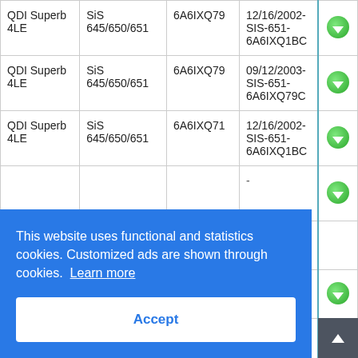| Model | Chipset | BIOS ID | Date/Version |  |
| --- | --- | --- | --- | --- |
| QDI Superb 4LE | SiS 645/650/651 | 6A6IXQ79 | 12/16/2002-SIS-651-6A6IXQ1BC | ↓ |
| QDI Superb 4LE | SiS 645/650/651 | 6A6IXQ79 | 09/12/2003-SIS-651-6A6IXQ79C | ↓ |
| QDI Superb 4LE | SiS 645/650/651 | 6A6IXQ71 | 12/16/2002-SIS-651-6A6IXQ1BC | ↓ |
|  |  |  | - | ↓ |
|  |  |  | -C- | ↓ |
|  |  |  | - | ↓ |
|  |  |  | -C | ↓ |
This website uses functional and statistics cookies. Customized ads are shown through cookies. Learn more
Accept